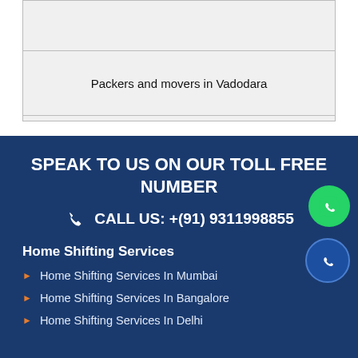|  |
| Packers and movers in Vadodara |
|  |
SPEAK TO US ON OUR TOLL FREE NUMBER
CALL US: +(91) 9311998855
Home Shifting Services
Home Shifting Services In Mumbai
Home Shifting Services In Bangalore
Home Shifting Services In Delhi